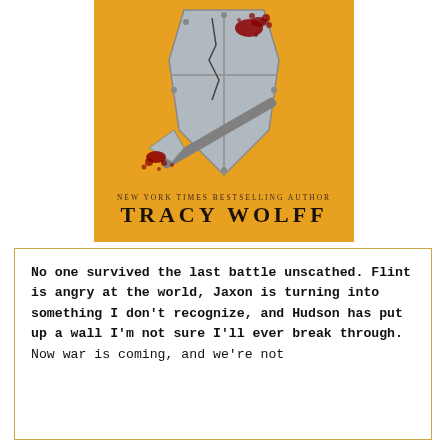[Figure (illustration): Book cover on golden/amber background showing a cracked metal shield with blood splatter and a bloody battle axe leaning against it. Text reads 'NEW YORK TIMES BESTSELLING AUTHOR TRACY WOLFF' at the bottom of the cover.]
No one survived the last battle unscathed. Flint is angry at the world, Jaxon is turning into something I don't recognize, and Hudson has put up a wall I'm not sure I'll ever break through. Now war is coming, and we're not